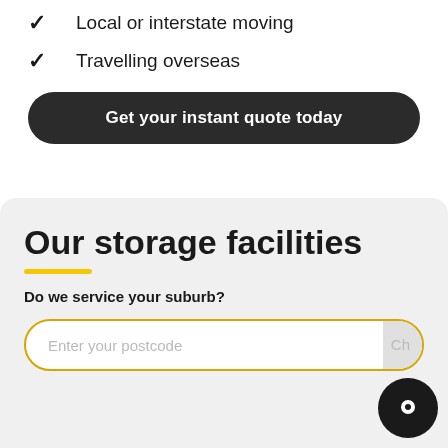✓  Local or interstate moving
✓  Travelling overseas
Get your instant quote today
Our storage facilities
Do we service your suburb?
Enter your postcode